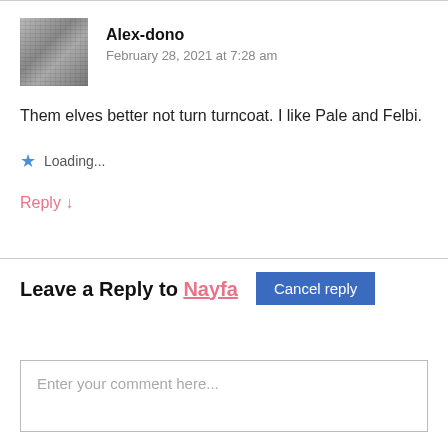Alex-dono
February 28, 2021 at 7:28 am
Them elves better not turn turncoat. I like Pale and Felbi.
Loading...
Reply ↓
Leave a Reply to Nayfa   Cancel reply
Enter your comment here...